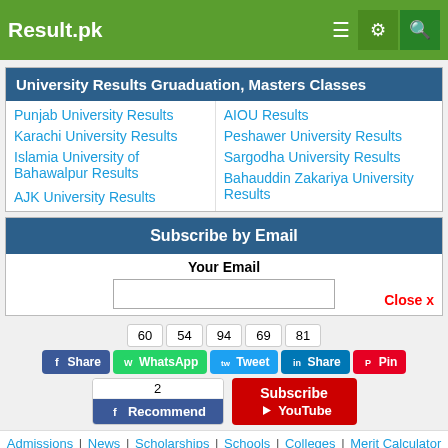Result.pk
University Results Gruaduation, Masters Classes
Punjab University Results
AIOU Results
Karachi University Results
Peshawer University Results
Islamia University of Bahawalpur Results
Sargodha University Results
Bahauddin Zakariya University Results
AJK University Results
Subscribe by Email
Your Email
Close x
60 Share | 54 WhatsApp | 94 Tweet | 69 Share | 81 Pin
2 Recommend
Subscribe YouTube
Admissions | News | Scholarships | Schools | Colleges | Merit Calculator | Ranking